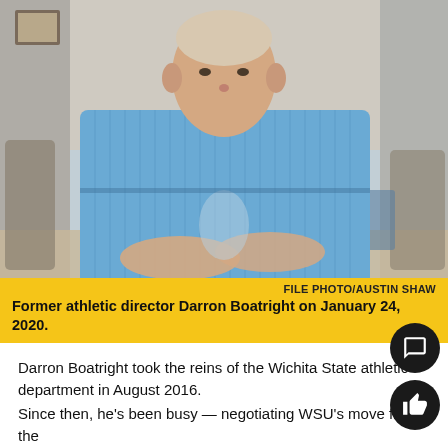[Figure (photo): Man in blue striped button-down shirt seated at a table, photographed from mid-torso up, with room furnishings visible in background.]
FILE PHOTO/AUSTIN SHAW
Former athletic director Darron Boatright on January 24, 2020.
Darron Boatright took the reins of the Wichita State athletic department in August 2016.
Since then, he's been busy — negotiating WSU's move from the Missouri Valley to the American Athletic Conference and transitioning the department to an all-inclusive apparel provider in Under Arm… among other things.
Boatright likens his days to a quote from "Pawn Stars" host Rick Harrison: "You never know what is going to come through those